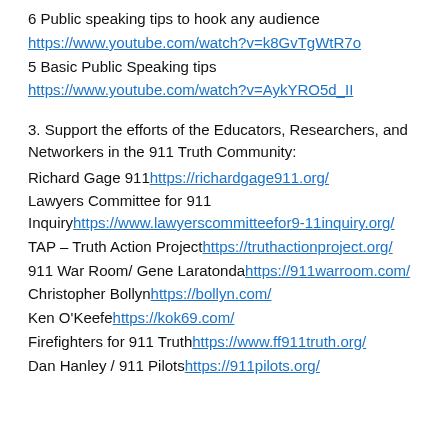6 Public speaking tips to hook any audience
https://www.youtube.com/watch?v=k8GvTgWtR7o
5 Basic Public Speaking tips
https://www.youtube.com/watch?v=AykYRO5d_II
3. Support the efforts of the Educators, Researchers, and Networkers in the 911 Truth Community:
Richard Gage 911 https://richardgage911.org/
Lawyers Committee for 911 Inquiry https://www.lawyerscommitteefor9-11inquiry.org/
TAP – Truth Action Project https://truthactionproject.org/
911 War Room/ Gene Laratonda https://911warroom.com/
Christopher Bollyn https://bollyn.com/
Ken O'Keefe https://kok69.com/
Firefighters for 911 Truth https://www.ff911truth.org/
Dan Hanley / 911 Pilots https://911pilots.org/